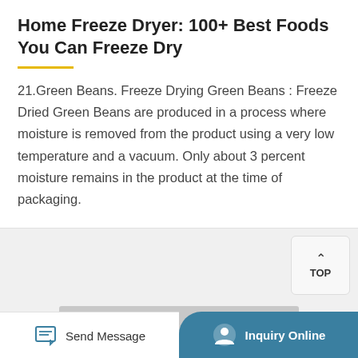Home Freeze Dryer: 100+ Best Foods You Can Freeze Dry
21.Green Beans. Freeze Drying Green Beans : Freeze Dried Green Beans are produced in a process where moisture is removed from the product using a very low temperature and a vacuum. Only about 3 percent moisture remains in the product at the time of packaging.
[Figure (screenshot): A 'TOP' back-to-top button with upward caret arrow]
[Figure (photo): Partial view of a grey/silver product (freeze dryer or packaging tray) at the bottom of the page]
[Figure (screenshot): Bottom navigation bar with 'Send Message' button on the left and teal 'Inquiry Online' button on the right]